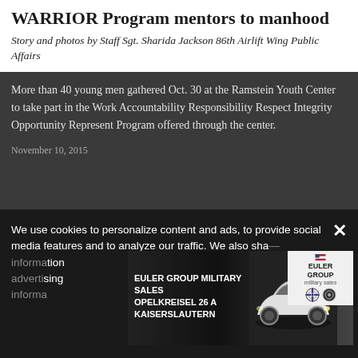WARRIOR Program mentors to manhood
Story and photos by Staff Sgt. Sharida Jackson 86th Airlift Wing Public Affairs
More than 40 young men gathered Oct. 30 at the Ramstein Youth Center to take part in the Work Accountability Responsibility Respect Integrity Opportunity Represent Program offered through the center.
November 10, 2015
We use cookies to personalize content and ads, to provide social media features and to analyze our traffic. We also share information... dia, advertising... information...
[Figure (advertisement): Euler Group Military Sales advertisement showing BMW car with text: EULER GROUP MILITARY SALES OPELKREISEL 26 A KAISERSLAUTERN, with BMW and Mini logos on white background]